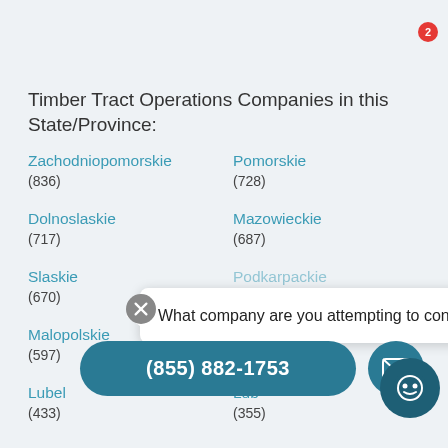Timber Tract Operations Companies in this State/Province:
Zachodniopomorskie (836)
Pomorskie (728)
Dolnoslaskie (717)
Mazowieckie (687)
Slaskie (670)
Podkarpackie (partially visible)
Malopolskie (597)
Wielkopolskie (575)
Lubelskie (433)
Lubuskie (355)
What company are you attempting to contact?
(855) 882-1753